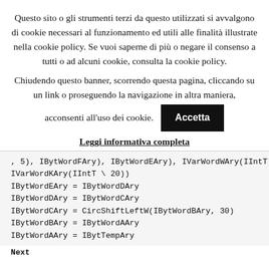Questo sito o gli strumenti terzi da questo utilizzati si avvalgono di cookie necessari al funzionamento ed utili alle finalità illustrate nella cookie policy. Se vuoi saperne di più o negare il consenso a tutti o ad alcuni cookie, consulta la cookie policy.
Chiudendo questo banner, scorrendo questa pagina, cliccando su un link o proseguendo la navigazione in altra maniera, acconsenti all'uso dei cookie. Accetta
Leggi informativa completa
, 5), IBytWordFAry), IBytWordEAry), IVarWordWAry(IIntT)),
IVarWordKAry(IIntT \ 20))
IBytWordEAry = IBytWordDAry
IBytWordDAry = IBytWordCAry
IBytWordCAry = CircShiftLeftW(IBytWordBAry, 30)
IBytWordBAry = IBytWordAAry
IBytWordAAry = IBytTempAry
Next